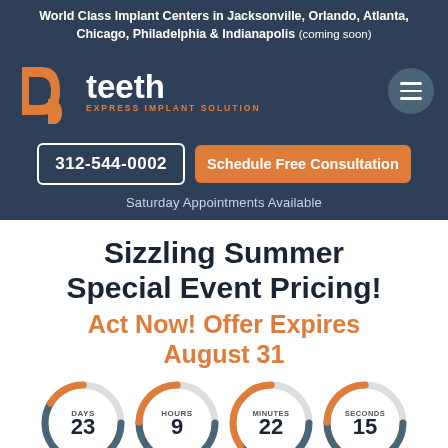World Class Implant Centers in Jacksonville, Orlando, Atlanta, Chicago, Philadelphia & Indianapolis (coming soon)
[Figure (logo): D5 Teeth Express Implant Solution logo with orange D5 emblem and white 'teeth' text]
312-544-0002
Schedule Free Consultation
Saturday Appointments Available
Sizzling Summer Special Event Pricing!
Act Now! Offer Expires August 31
[Figure (infographic): Countdown timer showing DAYS 23, HOURS 9, MINUTES 22, SECONDS 15 as donut-style circular gauges in orange and grey]